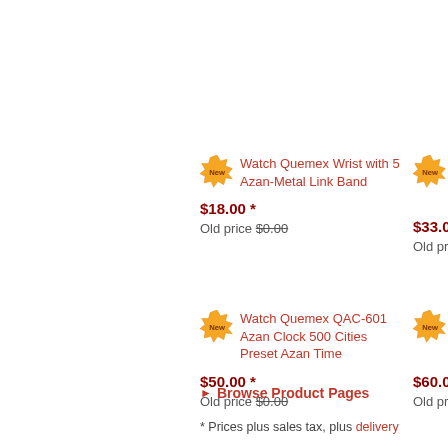Watch Quemex Wrist with 5 Azan-Metal Link Band
$18.00 * Old price $0.00
Watch Quemex ... 500 Cities (partial)
$33.00 * Old price $...
Watch Quemex QAC-601 Azan Clock 500 Cities Preset Azan Time
$50.00 * Old price $0.00
Watch ... 1508 ... Cities 7 Az... (partial)
$60.00 * Old price $...
Browse Product Pages
* Prices plus sales tax, plus delivery